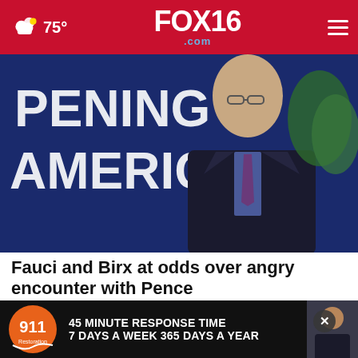FOX16.com | 75°
[Figure (photo): Man in dark suit with purple tie standing in front of a blue sign reading 'OPENING AMERICA']
Fauci and Birx at odds over angry encounter with Pence
[Figure (photo): Close-up of plastic spoons on a wooden surface background]
[Figure (other): Advertisement for 911 Restoration: '45 MINUTE RESPONSE TIME 7 DAYS A WEEK 365 DAYS A YEAR']